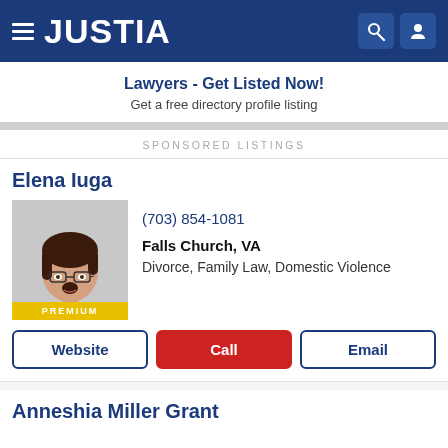JUSTIA
Lawyers - Get Listed Now!
Get a free directory profile listing
SPONSORED LISTINGS
Elena Iuga
[Figure (photo): Headshot of Elena Iuga, a woman with glasses and dark hair, wearing a black dotted blouse. PREMIUM badge at bottom.]
(703) 854-1081
Falls Church, VA
Divorce, Family Law, Domestic Violence
Website  Call  Email
Anneshia Miller Grant